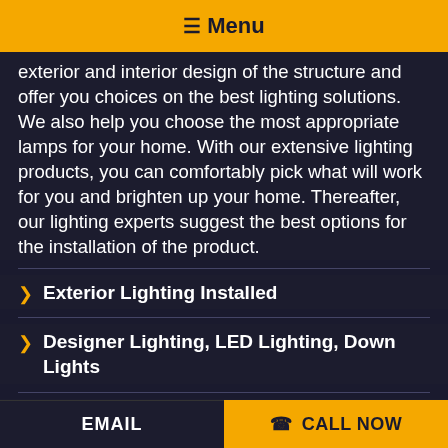☰ Menu
exterior and interior design of the structure and offer you choices on the best lighting solutions. We also help you choose the most appropriate lamps for your home. With our extensive lighting products, you can comfortably pick what will work for you and brighten up your home. Thereafter, our lighting experts suggest the best options for the installation of the product.
❯ Exterior Lighting Installed
❯ Designer Lighting, LED Lighting, Down Lights
❯ Outdoor Wall Lighting Installation
EMAIL | ☎ CALL NOW